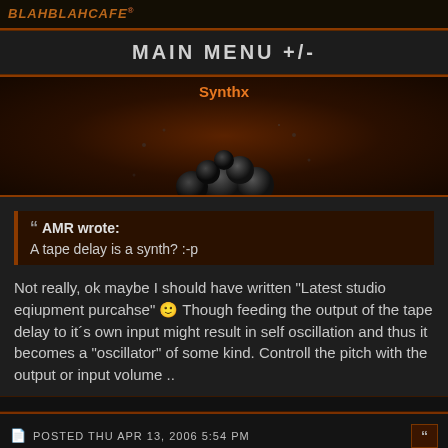BLAHBLAHCAFE
MAIN MENU +/-
[Figure (screenshot): User banner for Synthx with dark orange background and decorative 3D sphere shapes]
AMR wrote: A tape delay is a synth? :-p
Not really, ok maybe I should have written "Latest studio eqiupment purcahse" :) Though feeding the output of the tape delay to it´s own input might result in self oscillation and thus it becomes a "oscillator" of some kind. Controll the pitch with the output or input volume ..
POSTED THU APR 13, 2006 5:54 PM
Nico_Noyau
Assistant Admin & Bootleg Expert